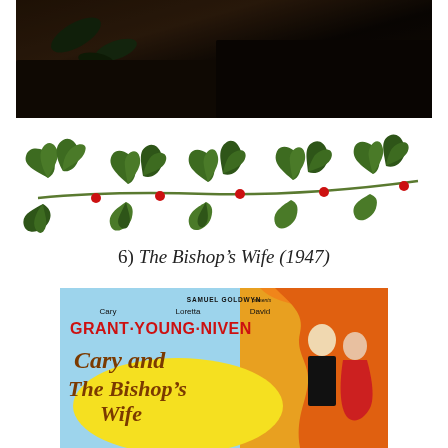[Figure (photo): Dark photograph showing hands/figures with leaves on a dark background]
[Figure (illustration): Holly branch with red berries serving as a decorative divider]
6) The Bishop’s Wife (1947)
[Figure (photo): Movie poster for The Bishop's Wife (1947) featuring Cary Grant, Loretta Young, and David Niven. Text reads: SAMUEL GOLDWYN presents Cary Grant, Loretta Young, David Niven in Cary and The Bishop's Wife.]